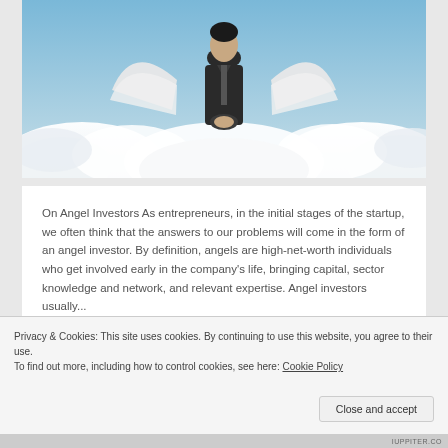[Figure (photo): A person dressed in a dark business suit with white angel wings, standing on clouds against a blue sky background — symbolizing an angel investor.]
On Angel Investors As entrepreneurs, in the initial stages of the startup, we often think that the answers to our problems will come in the form of an angel investor. By definition, angels are high-net-worth individuals who get involved early in the company's life, bringing capital, sector knowledge and network, and relevant expertise. Angel investors usually...
Continue Reading →
Privacy & Cookies: This site uses cookies. By continuing to use this website, you agree to their use.
To find out more, including how to control cookies, see here: Cookie Policy
IUPPITER.CO